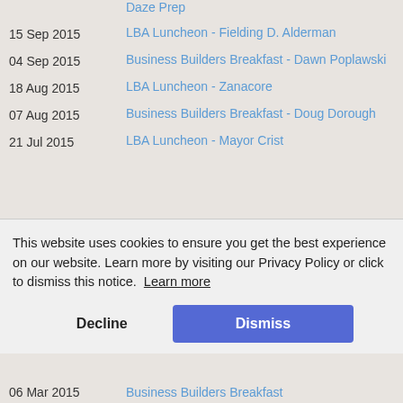Daze Prep
15 Sep 2015 — LBA Luncheon - Fielding D. Alderman
04 Sep 2015 — Business Builders Breakfast - Dawn Poplawski
18 Aug 2015 — LBA Luncheon - Zanacore
07 Aug 2015 — Business Builders Breakfast - Doug Dorough
21 Jul 2015 — LBA Luncheon - Mayor Crist
This website uses cookies to ensure you get the best experience on our website. Learn more by visiting our Privacy Policy or click to dismiss this notice. Learn more
Decline | Dismiss
06 Mar 2015 — Business Builders Breakfast